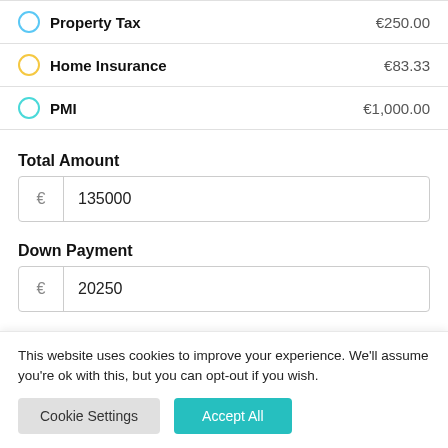Property Tax €250.00
Home Insurance €83.33
PMI €1,000.00
Total Amount
€ 135000
Down Payment
€ 20250
This website uses cookies to improve your experience. We'll assume you're ok with this, but you can opt-out if you wish.
Cookie Settings
Accept All